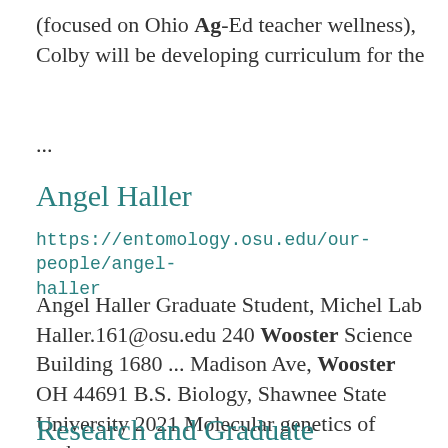(focused on Ohio Ag-Ed teacher wellness), Colby will be developing curriculum for the ...
Angel Haller
https://entomology.osu.edu/our-people/angel-haller
Angel Haller Graduate Student, Michel Lab Haller.161@osu.edu 240 Wooster Science Building 1680 ... Madison Ave, Wooster OH 44691 B.S. Biology, Shawnee State University 2021 Molecular genetics of soybean ...
Research and Graduate Education